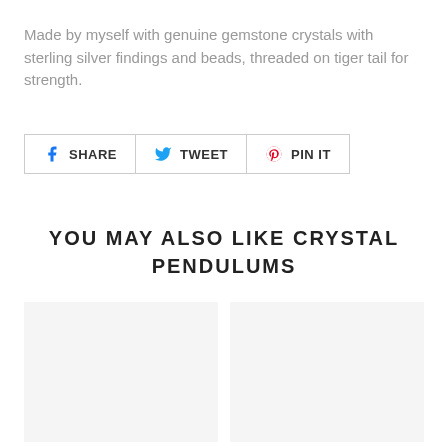Made by myself with genuine gemstone crystals with sterling silver findings and beads, threaded on tiger tail for strength.
[Figure (screenshot): Social share buttons: Facebook SHARE, Twitter TWEET, Pinterest PIN IT]
YOU MAY ALSO LIKE CRYSTAL PENDULUMS
[Figure (photo): Two product image placeholder boxes side by side, light gray background]